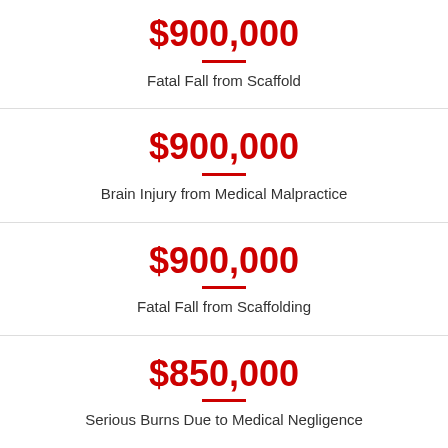$900,000
Fatal Fall from Scaffold
$900,000
Brain Injury from Medical Malpractice
$900,000
Fatal Fall from Scaffolding
$850,000
Serious Burns Due to Medical Negligence